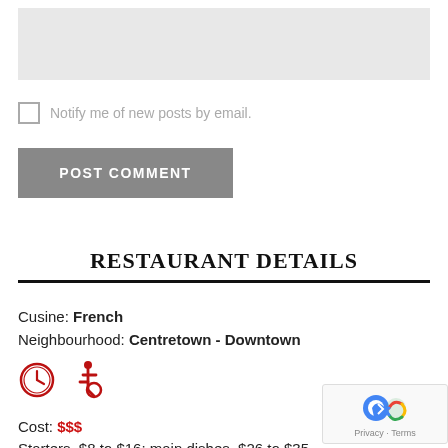[Figure (other): Gray input/textarea box for comment entry]
Notify me of new posts by email.
POST COMMENT
RESTAURANT DETAILS
Cusine: French
Neighbourhood: Centretown - Downtown
[Figure (other): Clock icon (red) and wheelchair accessibility icon (red)]
Cost: $$$
Starters, $8 to $16; main dishes, $26 to $35
Hours: Open daily for breakfast/brunch, lunch and